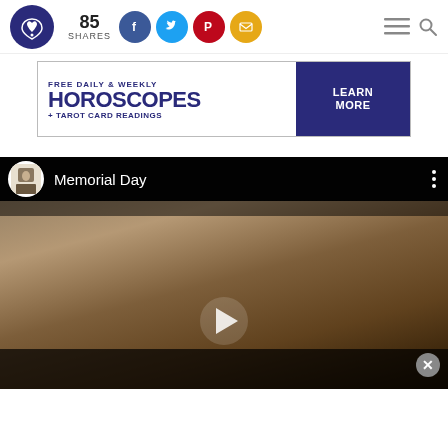85 SHARES — social sharing bar with Facebook, Twitter, Pinterest, Email buttons
[Figure (screenshot): Advertisement banner: FREE DAILY & WEEKLY HOROSCOPES + TAROT CARD READINGS with LEARN MORE button]
[Figure (screenshot): Video player showing Memorial Day — military officers saluting in black and white / sepia photo with play button overlay. Video avatar shows portrait icon and title 'Memorial Day'.]